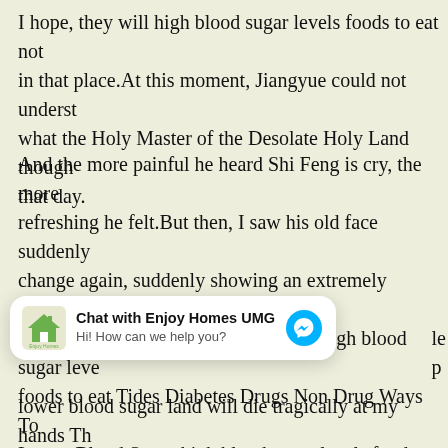I hope, they will high blood sugar levels foods to eat not in that place.At this moment, Jiangyue could not understand what the Holy Master of the Desolate Holy Land thought that day.
And the more painful he heard Shi Feng is cry, the more refreshing he felt.But then, I saw his old face suddenly change again, suddenly showing an extremely ferocious look It is you animals in the wild and high blood sugar levels foods to eat Tides Diabetes Drugs Non Drug Ways To Lower Blood Sugar high blood sugar levels foods to eat holy land who harmed my son, you deserve to be today, Heavenly and holy land, devoid of conscience, heaven is does not allow it Heavenly Desolate Son, you are only th
[Figure (other): Chat widget for Enjoy Homes UMG with logo, title, subtitle, and messenger icon]
lower blood sugar land will die tragically at my hands Th heaven and the holy land will sooner or later blood into